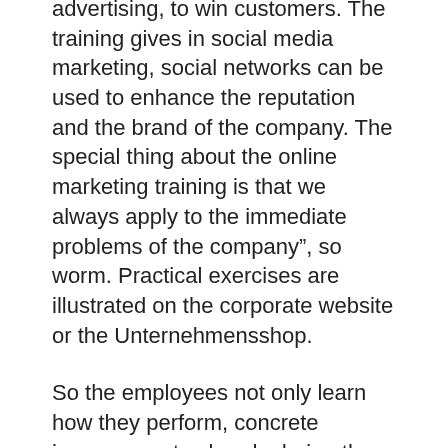advertising, to win customers. The training gives in social media marketing, social networks can be used to enhance the reputation and the brand of the company. The special thing about the online marketing training is that we always apply to the immediate problems of the company”, so worm. Practical exercises are illustrated on the corporate website or the Unternehmensshop.
So the employees not only learn how they perform, concrete improvements already during the training.” The training will be carried out by experts, working even on the areas and implemented dozens of projects have. Therefore the latest trends and insights from the fields of SEO, SEM and SMM flow in the exercises always. Lowenstark was founded in 2001 in Braunschweig. 2012, additional locations were opened in Halle / S., Solingen and Kiel. The Agency employs over 80 people. Since 2001 over 2,000 customer projects have been